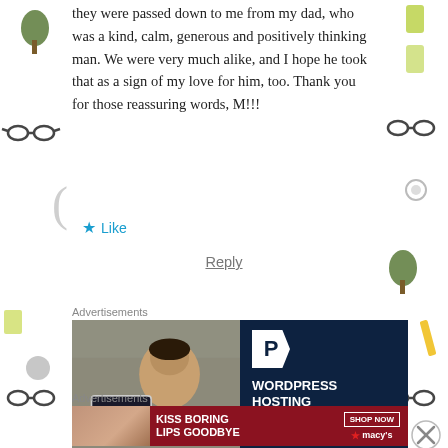they were passed down to me from my dad, who was a kind, calm, generous and positively thinking man. We were very much alike, and I hope he took that as a sign of my love for him, too. Thank you for those reassuring words, M!!!
★ Like
Reply
Advertisements
[Figure (infographic): WordPress hosting advertisement showing a smiling woman with an Open sign on the left photo side, and on the dark navy right side a WordPress-style P logo badge and text reading WORDPRESS HOSTING THAT MEANS]
Advertisements
[Figure (infographic): Macy's advertisement with dark red background showing a woman's face with red lips, text KISS BORING LIPS GOODBYE on the left and SHOP NOW button with macy's star logo on the right]